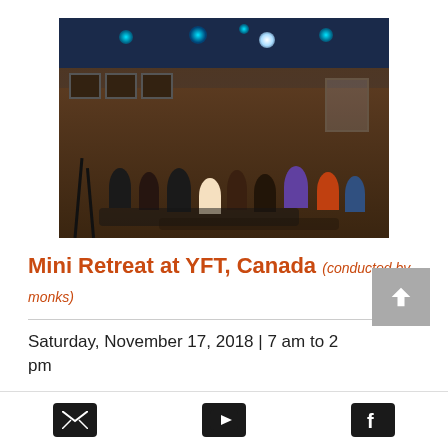[Figure (photo): Wide-angle photo of a large group of people in a meditation/yoga session inside a domed or round hall with wooden walls, colorful stage lighting (teal and white spotlights) on the ceiling, and many participants seated on the floor.]
Mini Retreat at YFT, Canada (conducted by monks)
Saturday, November 17, 2018 | 7 am to 2 pm
Kriyayoga Meditation Centre - Yog Fellowship Temple
388 Plains Road, Kitchener, Ontario,
Email | YouTube | Facebook icons